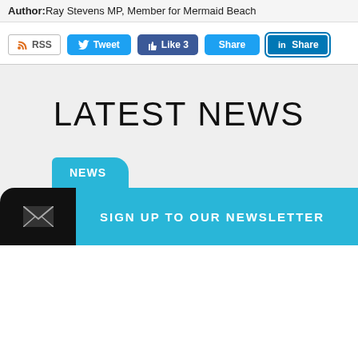Author:Ray Stevens MP, Member for Mermaid Beach
[Figure (infographic): Social sharing buttons: RSS, Tweet (Twitter), Like 3 (Facebook), Share, LinkedIn Share]
LATEST NEWS
NEWS
SIGN UP TO OUR NEWSLETTER